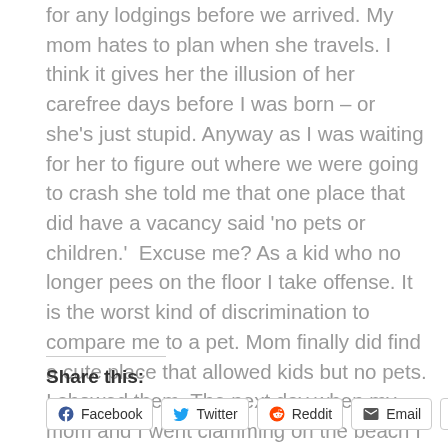for any lodgings before we arrived. My mom hates to plan when she travels. I think it gives her the illusion of her carefree days before I was born – or she's just stupid. Anyway as I was waiting for her to figure out where we were going to crash she told me that one place that did have a vacancy said 'no pets or children.' Excuse me? As a kid who no longer pees on the floor I take offense. It is the worst kind of discrimination to compare me to a pet. Mom finally did find a cute place that allowed kids but no pets. I showed them. The next day when my mom and I went clamming on the beach I saved one of the clams and named him Justin. I made him a little home under the hotel bed and left him there. Take that Harbor Inn!
Share this:
Facebook Twitter Reddit Email More